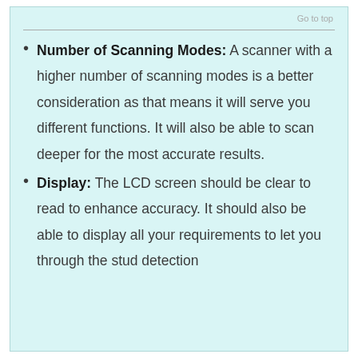Go to top
Number of Scanning Modes: A scanner with a higher number of scanning modes is a better consideration as that means it will serve you different functions. It will also be able to scan deeper for the most accurate results.
Display: The LCD screen should be clear to read to enhance accuracy. It should also be able to display all your requirements to let you through the stud detection